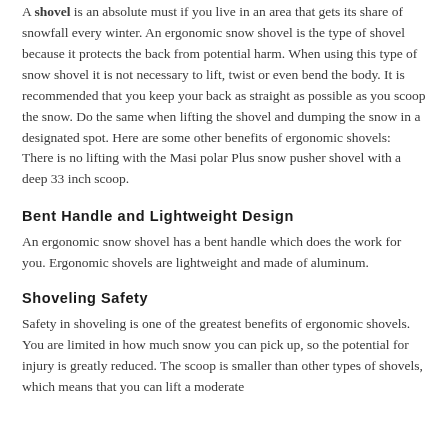A shovel is an absolute must if you live in an area that gets its share of snowfall every winter. An ergonomic snow shovel is the type of shovel because it protects the back from potential harm. When using this type of snow shovel it is not necessary to lift, twist or even bend the body. It is recommended that you keep your back as straight as possible as you scoop the snow. Do the same when lifting the shovel and dumping the snow in a designated spot. Here are some other benefits of ergonomic shovels:  There is no lifting with the Masi polar Plus snow pusher shovel with a deep 33 inch scoop.
Bent Handle and Lightweight Design
An ergonomic snow shovel has a bent handle which does the work for you. Ergonomic shovels are lightweight and made of aluminum.
Shoveling Safety
Safety in shoveling is one of the greatest benefits of ergonomic shovels. You are limited in how much snow you can pick up, so the potential for injury is greatly reduced. The scoop is smaller than other types of shovels, which means that you can lift a moderate